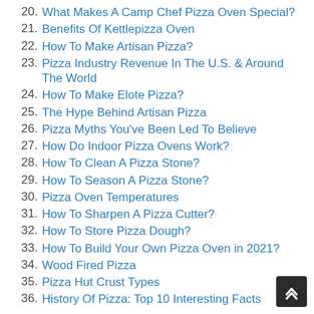20. What Makes A Camp Chef Pizza Oven Special?
21. Benefits Of Kettlepizza Oven
22. How To Make Artisan Pizza?
23. Pizza Industry Revenue In The U.S. & Around The World
24. How To Make Elote Pizza?
25. The Hype Behind Artisan Pizza
26. Pizza Myths You've Been Led To Believe
27. How Do Indoor Pizza Ovens Work?
28. How To Clean A Pizza Stone?
29. How To Season A Pizza Stone?
30. Pizza Oven Temperatures
31. How To Sharpen A Pizza Cutter?
32. How To Store Pizza Dough?
33. How To Build Your Own Pizza Oven in 2021?
34. Wood Fired Pizza
35. Pizza Hut Crust Types
36. History Of Pizza: Top 10 Interesting Facts